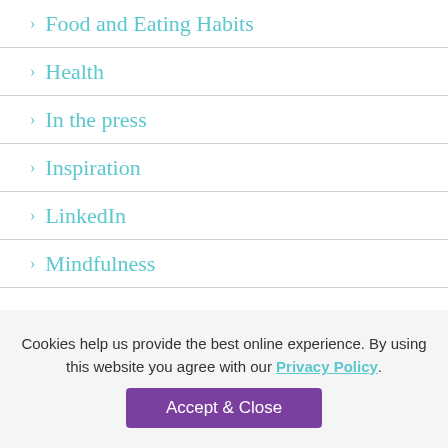> Food and Eating Habits
> Health
> In the press
> Inspiration
> LinkedIn
> Mindfulness
Cookies help us provide the best online experience. By using this website you agree with our Privacy Policy.
Accept & Close